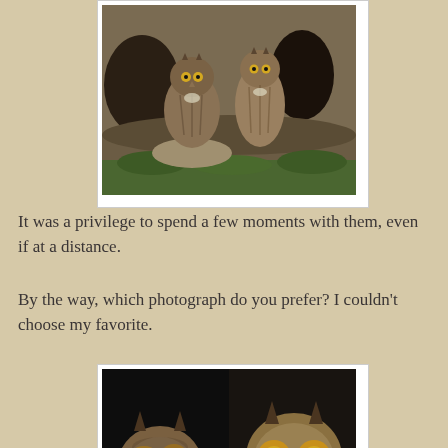[Figure (photo): Two great horned owls sitting together in a rocky cave or burrow entrance, surrounded by rocks and green vegetation, photographed from a distance in daylight.]
It was a privilege to spend a few moments with them, even if at a distance.
By the way, which photograph do you prefer? I couldn't choose my favorite.
[Figure (photo): Close-up photograph of two great horned owls side by side against a dark background, both facing forward with striking yellow eyes and ear tufts visible.]